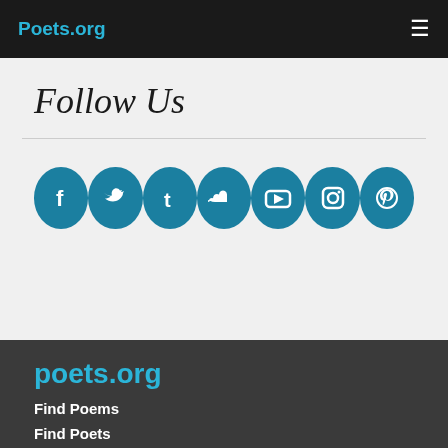Poets.org
Follow Us
[Figure (infographic): Seven social media icons in teal circles: Facebook, Twitter, Tumblr, SoundCloud, YouTube, Instagram, Pinterest]
poets.org
Find Poems
Find Poets
Poetry Near You
Jobs for Poets